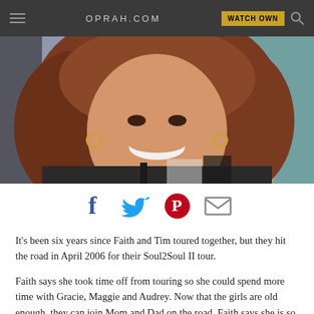OPRAH.COM | WATCH OWN
[Figure (photo): Woman with long auburn wavy hair, smiling, wearing a dark patterned top, photographed from chest up against a colorful background.]
[Figure (infographic): Social sharing icons: Facebook (blue f), Twitter (blue bird), Pinterest (red circle with P), Email (envelope)]
It's been six years since Faith and Tim toured together, but they hit the road in April 2006 for their Soul2Soul II tour.
Faith says she took time off from touring so she could spend more time with Gracie, Maggie and Audrey. Now that the girls are old enough, they can join Mom and Dad on the road. Faith says she is so